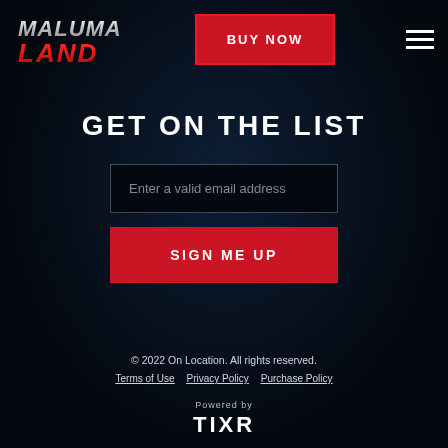[Figure (logo): Maluma Land logo — stylized red and white text with chrome/metallic effect]
BUY NOW
GET ON THE LIST
Enter a valid email address
SIGN ME UP
© 2022 On Location. All rights reserved.
Terms of Use   Privacy Policy   Purchase Policy
[Figure (logo): Powered by TIXR logo]